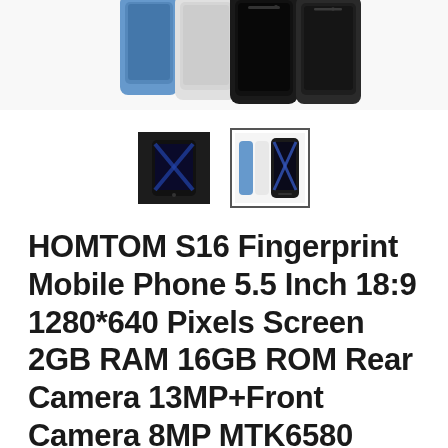[Figure (photo): Top portion of product listing showing multiple HOMTOM S16 smartphones in blue, white, and black colors, cropped at top]
[Figure (photo): Two thumbnail images of the HOMTOM S16 phone: first thumbnail showing front face (dark), second thumbnail (selected with border) showing phone with blue/white/black color variants]
HOMTOM S16 Fingerprint Mobile Phone 5.5 Inch 18:9 1280*640 Pixels Screen 2GB RAM 16GB ROM Rear Camera 13MP+Front Camera 8MP MTK6580 1.3GHz Quad